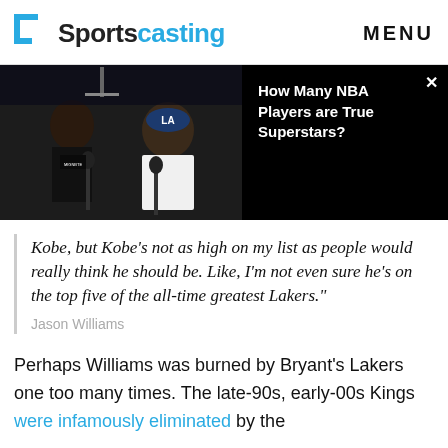Sportscasting   MENU
[Figure (photo): Video thumbnail showing two men at microphones in a podcast/interview setting, with a basketball hoop visible in background. Right side shows black background with title text 'How Many NBA Players are True Superstars?' and a close button.]
Kobe, but Kobe's not as high on my list as people would really think he should be. Like, I'm not even sure he's on the top five of the all-time greatest Lakers."
Jason Williams
Perhaps Williams was burned by Bryant's Lakers one too many times. The late-90s, early-00s Kings were infamously eliminated by the